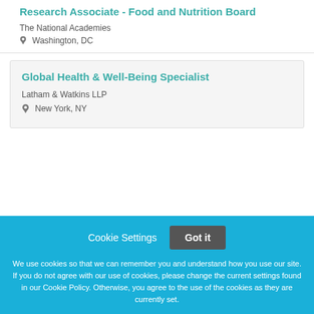Research Associate - Food and Nutrition Board
The National Academies
Washington, DC
Global Health & Well-Being Specialist
Latham & Watkins LLP
New York, NY
Cookie Settings
Got it
We use cookies so that we can remember you and understand how you use our site. If you do not agree with our use of cookies, please change the current settings found in our Cookie Policy. Otherwise, you agree to the use of the cookies as they are currently set.